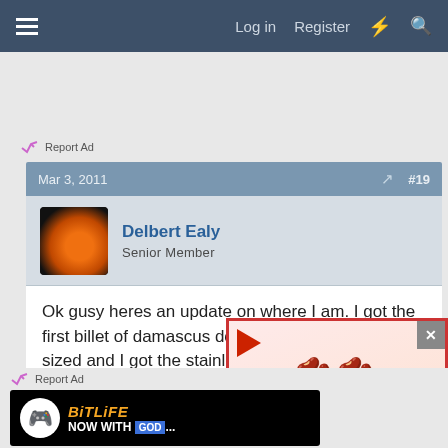≡   Log in   Register   ⚡   🔍
✓/ Report Ad
Mar 3, 2011   ↗   #19
Delbert Ealy
Senior Member
Ok gusy heres an update on where I am. I got the first billet of damascus done, 3 more bars gyuto-sized and I got the stainless billet for the mariboshi fused and ready to forge down. An idea, to take some sma them onto the sides of a
✓/ Report Ad
[Figure (screenshot): BitLife mobile game advertisement banner - black background with circular logo, orange italic BiTLiFE text, 'NOW WITH GOD...' text]
[Figure (screenshot): Kidney Stones symptoms popup advertisement with cartoon kidney characters saying HELP! and a person holding their back in pain, red play button triangle, red border]